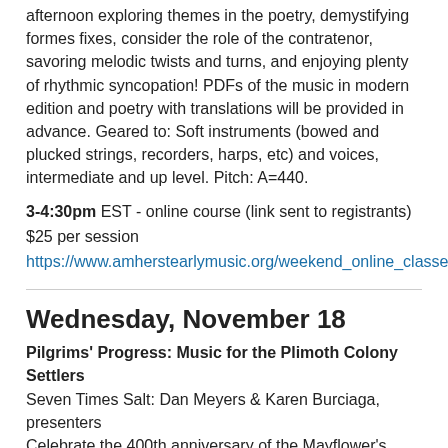afternoon exploring themes in the poetry, demystifying formes fixes, consider the role of the contratenor, savoring melodic twists and turns, and enjoying plenty of rhythmic syncopation! PDFs of the music in modern edition and poetry with translations will be provided in advance. Geared to: Soft instruments (bowed and plucked strings, recorders, harps, etc) and voices, intermediate and up level. Pitch: A=440.
3-4:30pm EST - online course (link sent to registrants)
$25 per session
https://www.amherstearlymusic.org/weekend_online_classes
Wednesday, November 18
Pilgrims' Progress: Music for the Plimoth Colony Settlers
Seven Times Salt: Dan Meyers & Karen Burciaga, presenters
Celebrate the 400th anniversary of the Mayflower's sailing with music! This online lecture-demo follows the passengers from their homes in turbulent 1590s England to religious refuge in the Netherlands, and onward to the unfamiliar shores of New England in 1620. Contrary to what the history books tell us, the Plimoth colonists, or “Pilgrims” as